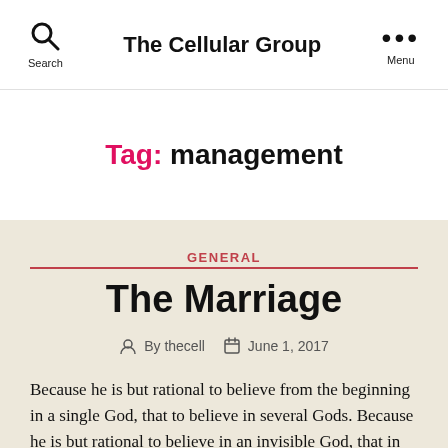The Cellular Group
Tag: management
GENERAL
The Marriage
By thecell   June 1, 2017
Because he is but rational to believe from the beginning in a single God, that to believe in several Gods. Because he is but rational to believe in an invisible God, that in an